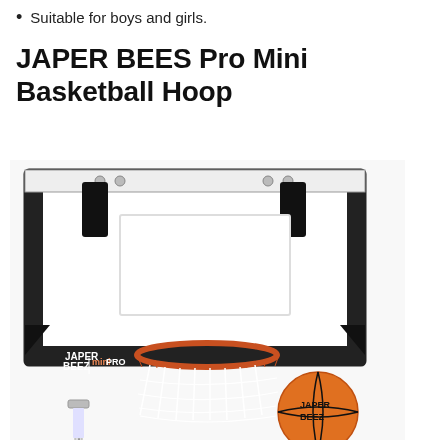Suitable for boys and girls.
JAPER BEES Pro Mini Basketball Hoop
[Figure (photo): Product photo of JAPER BEES Pro Mini Basketball Hoop showing a white backboard with black trim, orange rim with white net, a small basketball branded JAPER BEES, and a pump. A red scroll-up button is visible on the right side.]